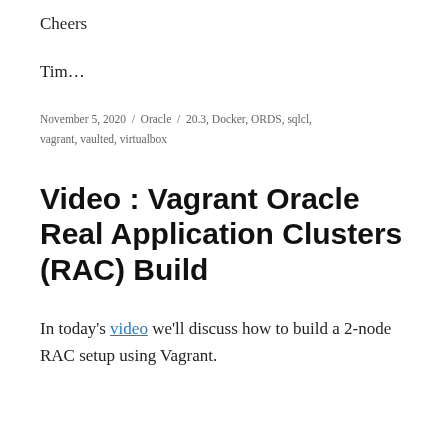Cheers
Tim…
November 5, 2020 / Oracle / 20.3, Docker, ORDS, sqlcl, vagrant, vaulted, virtualbox
Video : Vagrant Oracle Real Application Clusters (RAC) Build
In today's video we'll discuss how to build a 2-node RAC setup using Vagrant.